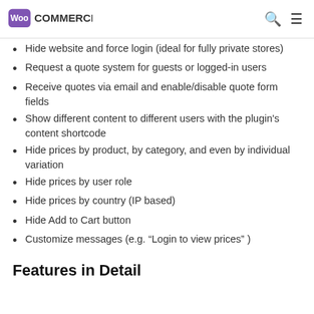WooCommerce
Hide website and force login (ideal for fully private stores)
Request a quote system for guests or logged-in users
Receive quotes via email and enable/disable quote form fields
Show different content to different users with the plugin's content shortcode
Hide prices by product, by category, and even by individual variation
Hide prices by user role
Hide prices by country (IP based)
Hide Add to Cart button
Customize messages (e.g. “Login to view prices” )
Features in Detail